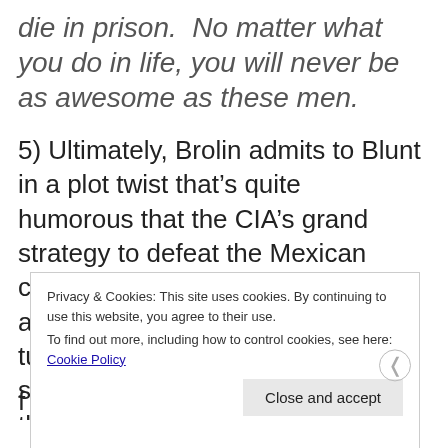die in prison.  No matter what you do in life, you will never be as awesome as these men.
5) Ultimately, Brolin admits to Blunt in a plot twist that's quite humorous that the CIA's grand strategy to defeat the Mexican cartels is to help the Medellin and/or Columbian cartels regain turf because they provided more stability. Truly! In order to swallow this completely bullshit notion, you will need have never heard of the f
Privacy & Cookies: This site uses cookies. By continuing to use this website, you agree to their use.
To find out more, including how to control cookies, see here: Cookie Policy
Close and accept